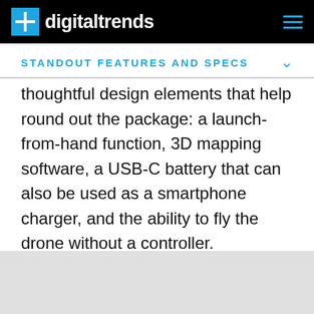digitaltrends
STANDOUT FEATURES AND SPECS
thoughtful design elements that help round out the package: a launch-from-hand function, 3D mapping software, a USB-C battery that can also be used as a smartphone charger, and the ability to fly the drone without a controller.
[Figure (other): Gray placeholder image area at the bottom of the page]